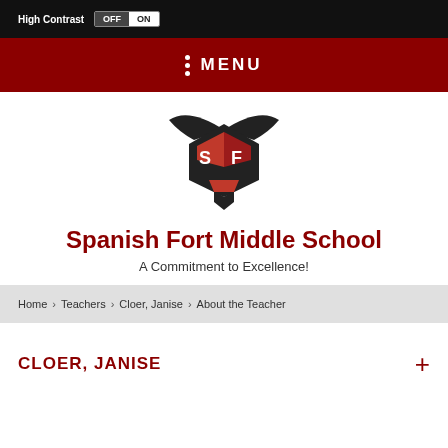High Contrast OFF ON
MENU
[Figure (logo): Spanish Fort Middle School bull logo with red and dark geometric bull head design and horns]
Spanish Fort Middle School
A Commitment to Excellence!
Home › Teachers › Cloer, Janise › About the Teacher
CLOER, JANISE